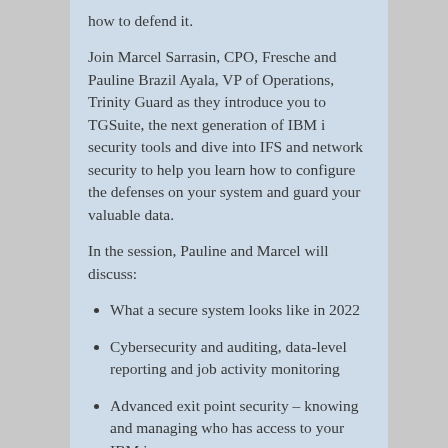how to defend it.
Join Marcel Sarrasin, CPO, Fresche and Pauline Brazil Ayala, VP of Operations, Trinity Guard as they introduce you to TGSuite, the next generation of IBM i security tools and dive into IFS and network security to help you learn how to configure the defenses on your system and guard your valuable data.
In the session, Pauline and Marcel will discuss:
What a secure system looks like in 2022
Cybersecurity and auditing, data-level reporting and job activity monitoring
Advanced exit point security – knowing and managing who has access to your IBM i